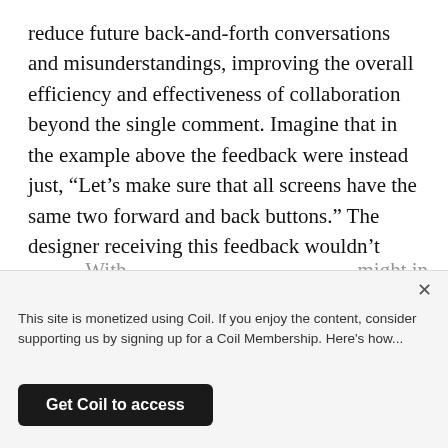reduce future back-and-forth conversations and misunderstandings, improving the overall efficiency and effectiveness of collaboration beyond the single comment. Imagine that in the example above the feedback were instead just, “Let’s make sure that all screens have the same two forward and back buttons.” The designer receiving this feedback wouldn’t have much to go by, so they might just apply the change. In later iterations, the interface might change or they might introduce new features—and maybe that change might not make sense
This site is monetized using Coil. If you enjoy the content, consider supporting us by signing up for a Coil Membership. Here's how...
Get Coil to access